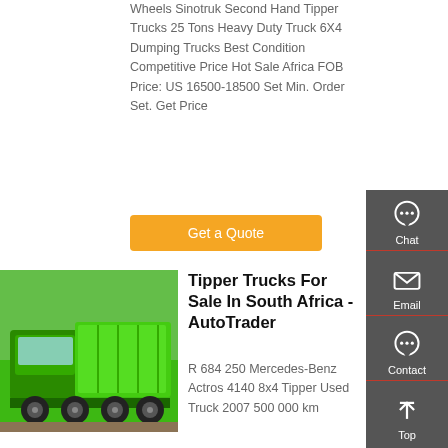Wheels Sinotruk Second Hand Tipper Trucks 25 Tons Heavy Duty Truck 6X4 Dumping Trucks Best Condition Competitive Price Hot Sale Africa FOB Price: US 16500-18500 Set Min. Order Set. Get Price
Get a Quote
[Figure (photo): Green Sinotruk tipper truck parked outdoors]
Tipper Trucks For Sale In South Africa - AutoTrader
R 684 250 Mercedes-Benz Actros 4140 8x4 Tipper Used Truck 2007 500 000 km